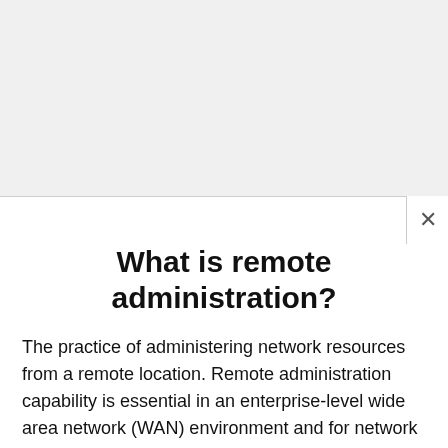What is remote administration?
The practice of administering network resources from a remote location. Remote administration capability is essential in an enterprise-level wide area network (WAN) environment and for network administrators who are on the road. Networking and software vendors offer many types of solutions